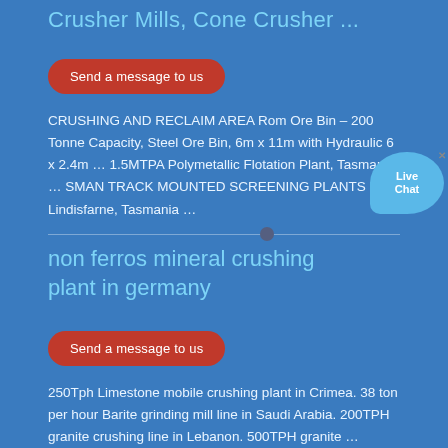Crusher Mills, Cone Crusher ...
Send a message to us
CRUSHING AND RECLAIM AREA Rom Ore Bin – 200 Tonne Capacity, Steel Ore Bin, 6m x 11m with Hydraulic 6 x 2.4m … 1.5MTPA Polymetallic Flotation Plant, Tasmania, … SMAN TRACK MOUNTED SCREENING PLANTS | Lindisfarne, Tasmania …
non ferros mineral crushing plant in germany
Send a message to us
250Tph Limestone mobile crushing plant in Crimea. 38 ton per hour Barite grinding mill line in Saudi Arabia. 200TPH granite crushing line in Lebanon. 500TPH granite …